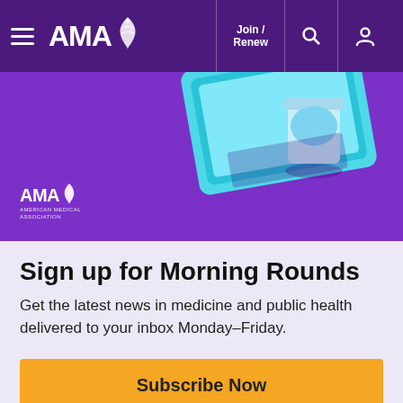AMA - American Medical Association navigation bar with hamburger menu, Join/Renew, search, and account icons
[Figure (illustration): Purple banner with AMA American Medical Association logo at bottom left and illustrated tablet/device with a blue cup on purple background]
Sign up for Morning Rounds
Get the latest news in medicine and public health delivered to your inbox Monday–Friday.
Subscribe Now